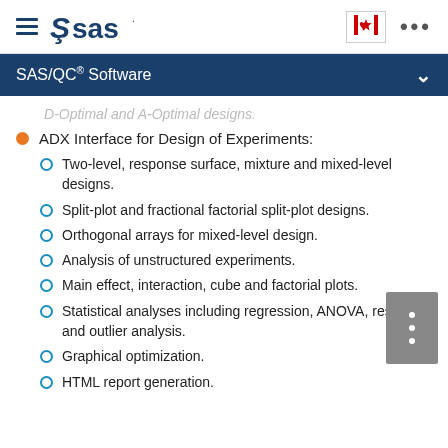SAS logo navigation bar with hamburger menu, Canadian flag icon, and ellipsis menu
SAS/QC® Software
D-Optimal and A-Optimal designs.
ADX Interface for Design of Experiments:
Two-level, response surface, mixture and mixed-level designs.
Split-plot and fractional factorial split-plot designs.
Orthogonal arrays for mixed-level design.
Analysis of unstructured experiments.
Main effect, interaction, cube and factorial plots.
Statistical analyses including regression, ANOVA, residual and outlier analysis.
Graphical optimization.
HTML report generation.